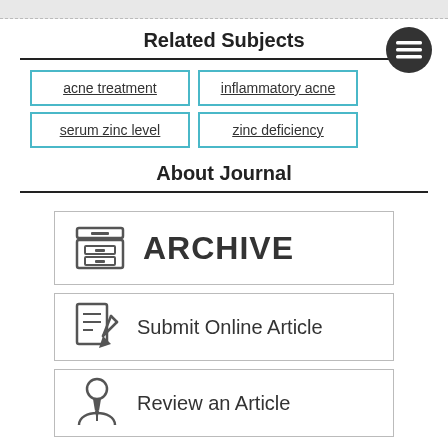Related Subjects
acne treatment
inflammatory acne
serum zinc level
zinc deficiency
About Journal
[Figure (infographic): Archive button with filing cabinet icon and text ARCHIVE]
[Figure (infographic): Submit Online Article button with document/pen icon]
[Figure (infographic): Review an Article button with person/reviewer icon]